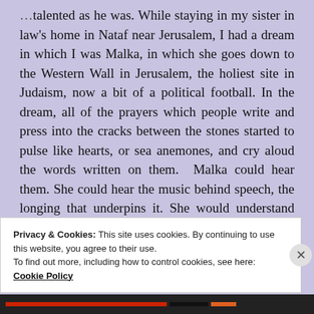talented as he was. While staying in my sister in law's home in Nataf near Jerusalem, I had a dream in which I was Malka, in which she goes down to the Western Wall in Jerusalem, the holiest site in Judaism, now a bit of a political football. In the dream, all of the prayers which people write and press into the cracks between the stones started to pulse like hearts, or sea anemones, and cry aloud the words written on them.  Malka could hear them. She could hear the music behind speech, the longing that underpins it. She would understand the language of silence. I realised Malka would be a mystic, a kabbalist, someone who could release these charged
Privacy & Cookies: This site uses cookies. By continuing to use this website, you agree to their use.
To find out more, including how to control cookies, see here: Cookie Policy
Close and accept